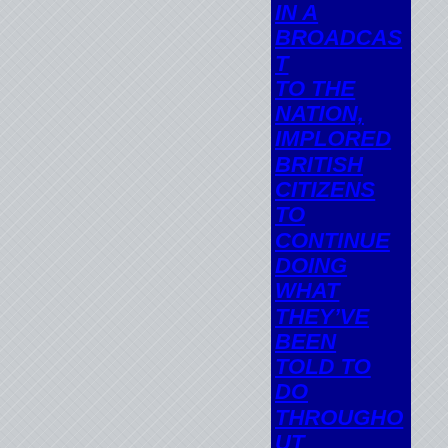[Figure (photo): Textured light gray background resembling embossed or stucco paper/wall surface, occupying the left two-thirds of the page.]
IN A BROADCAST TO THE NATION, IMPLORED BRITISH CITIZENS TO CONTINUE DOING WHAT THEY'VE BEEN TOLD TO DO THROUGHOUT THE